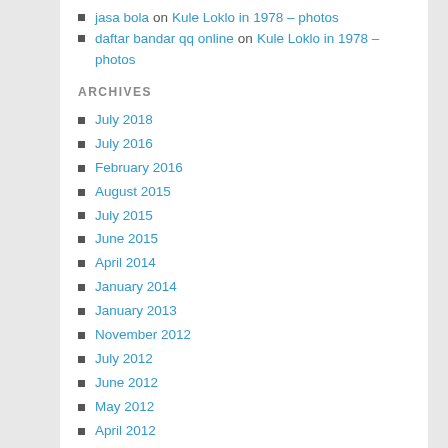jasa bola on Kule Loklo in 1978 – photos
daftar bandar qq online on Kule Loklo in 1978 – photos
ARCHIVES
July 2018
July 2016
February 2016
August 2015
July 2015
June 2015
April 2014
January 2014
January 2013
November 2012
July 2012
June 2012
May 2012
April 2012
March 2012